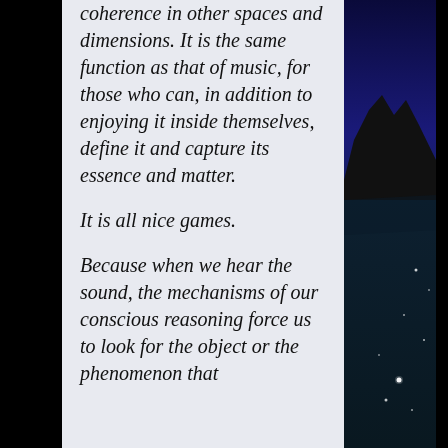coherence in other spaces and dimensions. It is the same function as that of music, for those who can, in addition to enjoying it inside themselves, define it and capture its essence and matter.

It is all nice games.

Because when we hear the sound, the mechanisms of our conscious reasoning force us to look for the object or the phenomenon that
[Figure (illustration): Night scene illustration showing dark mountain silhouette against a deep blue sky with stars visible in the lower portion]